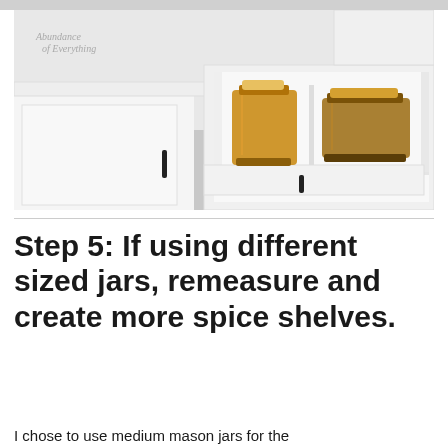[Figure (photo): Overhead view of white kitchen cabinet drawer open, showing two amber/brown glass mason jars inside. White cabinetry with black hardware visible. Watermark reads 'Abundance of Everything'. Gray floor visible.]
Step 5: If using different sized jars, remeasure and create more spice shelves.
I chose to use medium mason jars for the